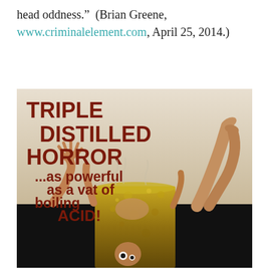head oddness." (Brian Greene, www.criminalelement.com, April 25, 2014.)
[Figure (illustration): Vintage horror movie poster showing text 'TRIPLE DISTILLED HORROR ...as powerful as a vat of boiling ACID!' with illustrated figures of a person falling into a vat of acid, hands reaching up, and legs sticking up out of a bubbling golden liquid vat against a black background at the bottom.]